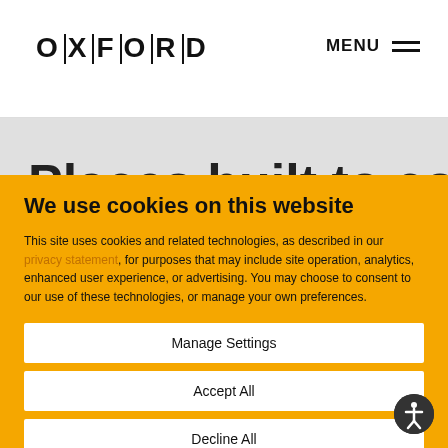OXFORD | MENU
Places built to connect
We use cookies on this website
This site uses cookies and related technologies, as described in our privacy statement, for purposes that may include site operation, analytics, enhanced user experience, or advertising. You may choose to consent to our use of these technologies, or manage your own preferences.
Manage Settings
Accept All
Decline All